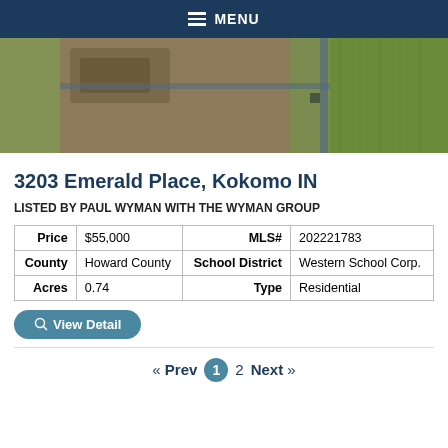MENU
[Figure (photo): Aerial/satellite view of a land parcel at 3203 Emerald Place, Kokomo IN, showing a mix of cleared dirt area and green agricultural fields, with a road intersection visible.]
3203 Emerald Place, Kokomo IN
LISTED BY PAUL WYMAN WITH THE WYMAN GROUP
| Price | $55,000 | MLS# | 202221783 |
| --- | --- | --- | --- |
| County | Howard County | School District | Western School Corp. |
| Acres | 0.74 | Type | Residential |
View Detail
« Prev  1  2  Next »